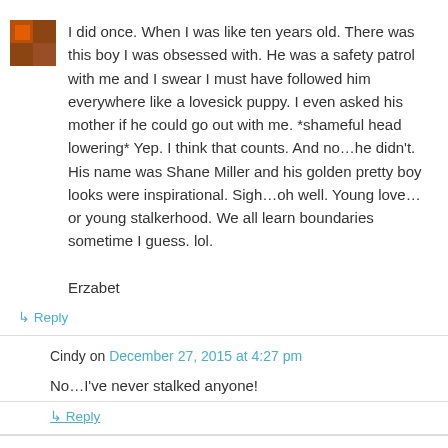I did once. When I was like ten years old. There was this boy I was obsessed with. He was a safety patrol with me and I swear I must have followed him everywhere like a lovesick puppy. I even asked his mother if he could go out with me. *shameful head lowering* Yep. I think that counts. And no…he didn't. His name was Shane Miller and his golden pretty boy looks were inspirational. Sigh…oh well. Young love…or young stalkerhood. We all learn boundaries sometime I guess. lol.

Erzabet
↳ Reply
Cindy on December 27, 2015 at 4:27 pm
No…I've never stalked anyone!
↳ Reply
Jessica on December 27, 2015 at 5:05 pm
I have FB stalked someone, ok lots of people.. but never in real life. Well ok, how can you not look when they are right in front of you?